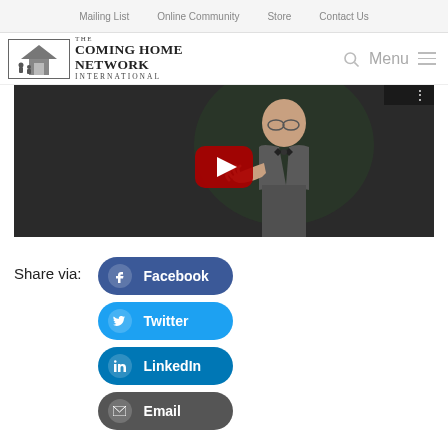Mailing List  Online Community  Store  Contact Us
[Figure (logo): The Coming Home Network International logo with building illustration]
[Figure (screenshot): YouTube video thumbnail showing Thomas & Lovelace Ho... with play button, elderly man in bow tie gesturing]
Share via:
Facebook
Twitter
LinkedIn
Email